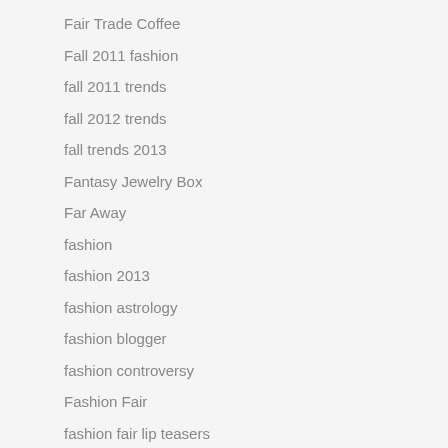Fair Trade Coffee
Fall 2011 fashion
fall 2011 trends
fall 2012 trends
fall trends 2013
Fantasy Jewelry Box
Far Away
fashion
fashion 2013
fashion astrology
fashion blogger
fashion controversy
Fashion Fair
fashion fair lip teasers
Fashion for Less
Fashion Movie